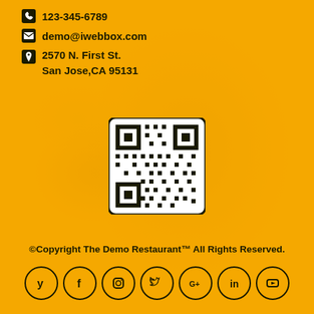📞 123-345-6789
✉ demo@iwebbox.com
📍 2570 N. First St. San Jose,CA 95131
[Figure (other): QR code in white rounded rectangle]
©Copyright The Demo Restaurant™ All Rights Reserved.
[Figure (other): Social media icons row: Yelp, Facebook, Instagram, Twitter, Google+, LinkedIn, YouTube]